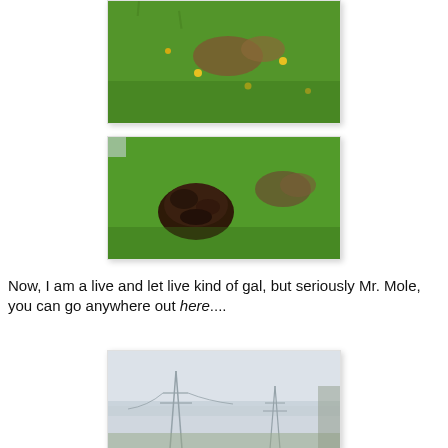[Figure (photo): Green grass lawn with yellow dandelion flowers and a bare patch of dirt, top portion cropped]
[Figure (photo): Close-up of green grass lawn with a dark brown molehill mound and disturbed earth patches]
Now, I am a live and let live kind of gal, but seriously Mr. Mole, you can go anywhere out here....
[Figure (photo): Misty open field with electricity pylons visible in the haze, partially cropped at bottom]